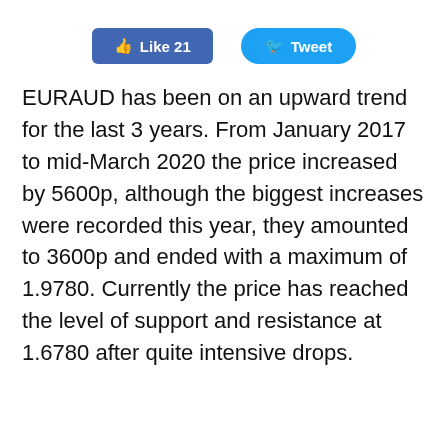[Figure (other): Social media buttons: Facebook Like (21) and Twitter Tweet]
EURAUD has been on an upward trend for the last 3 years. From January 2017 to mid-March 2020 the price increased by 5600p, although the biggest increases were recorded this year, they amounted to 3600p and ended with a maximum of 1.9780. Currently the price has reached the level of support and resistance at 1.6780 after quite intensive drops.